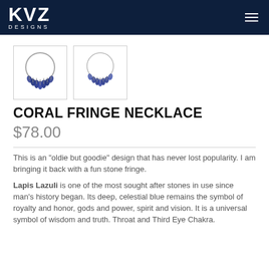KVZ DESIGNS
[Figure (photo): Two thumbnail images of a blue Lapis Lazuli stone fringe necklace on a silver hoop, shown from slightly different angles]
CORAL FRINGE NECKLACE
$78.00
This is an "oldie but goodie" design that has never lost popularity. I am bringing it back with a fun stone fringe.
Lapis Lazuli is one of the most sought after stones in use since man's history began. Its deep, celestial blue remains the symbol of royalty and honor, gods and power, spirit and vision. It is a universal symbol of wisdom and truth. Throat and Third Eye Chakra.